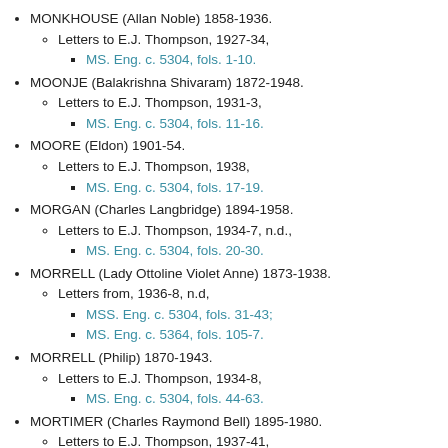MONKHOUSE (Allan Noble) 1858-1936.
Letters to E.J. Thompson, 1927-34,
MS. Eng. c. 5304, fols. 1-10.
MOONJE (Balakrishna Shivaram) 1872-1948.
Letters to E.J. Thompson, 1931-3,
MS. Eng. c. 5304, fols. 11-16.
MOORE (Eldon) 1901-54.
Letters to E.J. Thompson, 1938,
MS. Eng. c. 5304, fols. 17-19.
MORGAN (Charles Langbridge) 1894-1958.
Letters to E.J. Thompson, 1934-7, n.d.,
MS. Eng. c. 5304, fols. 20-30.
MORRELL (Lady Ottoline Violet Anne) 1873-1938.
Letters from, 1936-8, n.d,
MSS. Eng. c. 5304, fols. 31-43;
MS. Eng. c. 5364, fols. 105-7.
MORRELL (Philip) 1870-1943.
Letters to E.J. Thompson, 1934-8,
MS. Eng. c. 5304, fols. 44-63.
MORTIMER (Charles Raymond Bell) 1895-1980.
Letters to E.J. Thompson, 1937-41,
MS. Eng. c. 5304, fols. 65-6.
MORTIMER (Raymond), see Mortimer (Charles...